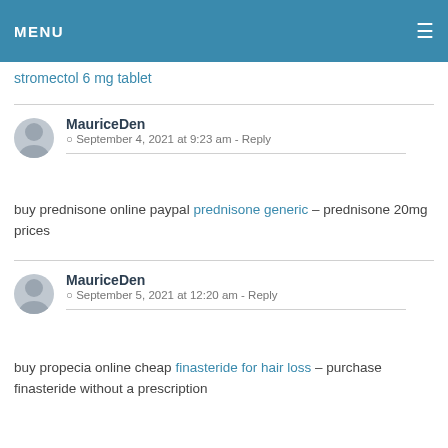MENU
stromectol 6 mg tablet
MauriceDen
September 4, 2021 at 9:23 am - Reply
buy prednisone online paypal prednisone generic – prednisone 20mg prices
MauriceDen
September 5, 2021 at 12:20 am - Reply
buy propecia online cheap finasteride for hair loss – purchase finasteride without a prescription